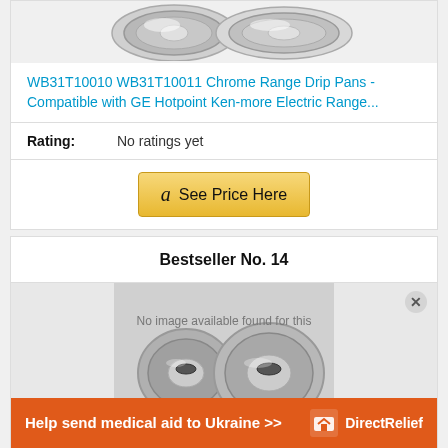[Figure (photo): Chrome range drip pans product photo, partially visible at top]
WB31T10010 WB31T10011 Chrome Range Drip Pans - Compatible with GE Hotpoint Ken-more Electric Range...
Rating: No ratings yet
See Price Here (Amazon button)
Bestseller No. 14
[Figure (photo): Chrome range drip pans product photo for Bestseller No. 14, with 'No image available found for this' text overlay and an orange Direct Relief ad banner]
Help send medical aid to Ukraine >>
Direct Relief